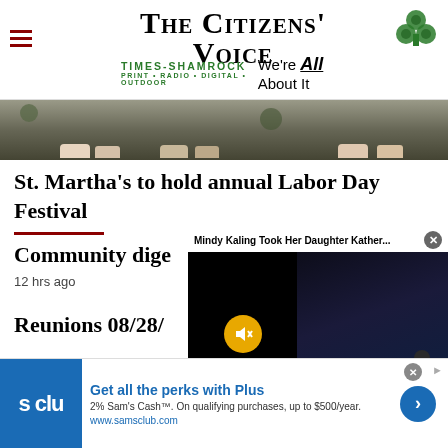The Citizens' Voice — Times-Shamrock Print · Radio · Digital · Outdoor — We're All About It
[Figure (photo): Bottom portion of a photo showing people's feet and shoes standing on pavement/ground with grass]
St. Martha's to hold annual Labor Day Festival
Community dige
12 hrs ago
Reunions 08/28/
[Figure (screenshot): Video popup overlay reading 'Mindy Kaling Took Her Daughter Kather...' with mute button and video of a child with arm raised against a dark cityscape background]
[Figure (infographic): Sam's Club advertisement banner: 'Get all the perks with Plus' — 2% Sam's Cash™. On qualifying purchases, up to $500/year. www.samsclub.com]